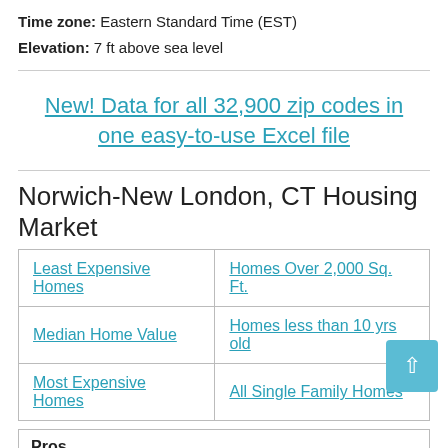Time zone: Eastern Standard Time (EST)
Elevation: 7 ft above sea level
New! Data for all 32,900 zip codes in one easy-to-use Excel file
Norwich-New London, CT Housing Market
| Least Expensive Homes | Homes Over 2,000 Sq. Ft. |
| Median Home Value | Homes less than 10 yrs old |
| Most Expensive Homes | All Single Family Homes |
Pros
Central location
Historic interest
Attractive setting